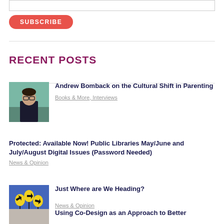[input field]
SUBSCRIBE
RECENT POSTS
[Figure (photo): Photo of a man with glasses standing in front of a teal/green wall]
Andrew Bomback on the Cultural Shift in Parenting
Books & More, Interviews
Protected: Available Now! Public Libraries May/June and July/August Digital Issues (Password Needed)
News & Opinion
[Figure (illustration): Illustration of three yellow tulip flowers with arrow signs on a blue background]
Just Where are We Heading?
News & Opinion
[Figure (photo): Partial photo visible at bottom]
Using Co-Design as an Approach to Better